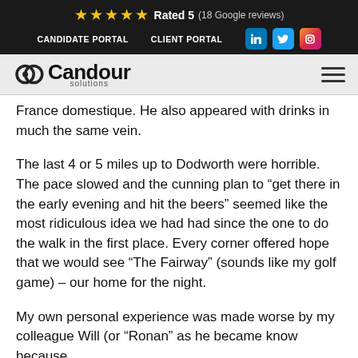★★★★★ Rated 5 (18 Google reviews) | CANDIDATE PORTAL | CLIENT PORTAL
[Figure (logo): Candour Solutions logo with icon]
France domestique. He also appeared with drinks in much the same vein.
The last 4 or 5 miles up to Dodworth were horrible. The pace slowed and the cunning plan to “get there in the early evening and hit the beers” seemed like the most ridiculous idea we had had since the one to do the walk in the first place. Every corner offered hope that we would see “The Fairway” (sounds like my golf game) – our home for the night.
My own personal experience was made worse by my colleague Will (or “Ronan” as he became know because